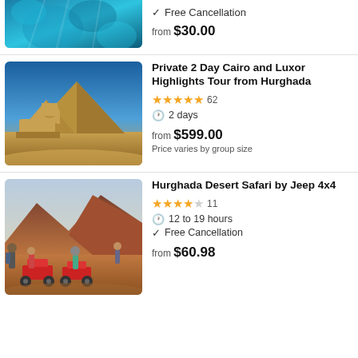[Figure (photo): Partial top of listing showing underwater blue image]
Free Cancellation
from $30.00
[Figure (photo): Photo of Sphinx and pyramids in Giza Egypt]
Private 2 Day Cairo and Luxor Highlights Tour from Hurghada
★★★★★ 62
2 days
from $599.00
Price varies by group size
[Figure (photo): Photo of tourists with quad bikes / ATVs in desert landscape]
Hurghada Desert Safari by Jeep 4x4
★★★★☆ 11
12 to 19 hours
Free Cancellation
from $60.98